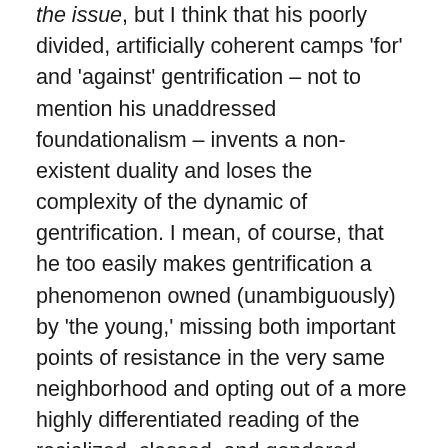the issue, but I think that his poorly divided, artificially coherent camps 'for' and 'against' gentrification – not to mention his unaddressed foundationalism – invents a non-existent duality and loses the complexity of the dynamic of gentrification. I mean, of course, that he too easily makes gentrification a phenomenon owned (unambiguously) by 'the young,' missing both important points of resistance in the very same neighborhood and opting out of a more highly differentiated reading of the racialized, classed, and gendered dynamics at work. I'm thinking here of the efforts of Fabulous Independent Educated Radicals for Community Empowerment (FIERCE!) who, with their LGBTQ youth of color focus and grassroots politics, have actively resisted gentrification, have continually named the racialized and gendered components that drive or accompany gentrification, and have pushed for spaces that...